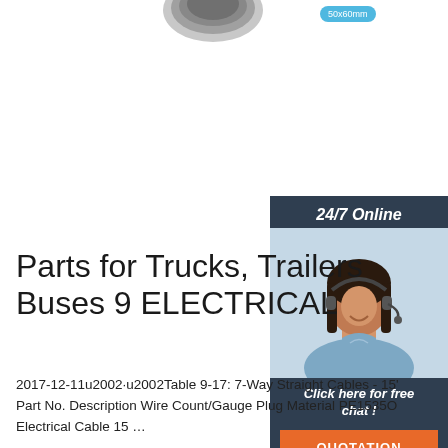[Figure (photo): Partial product image of a circular electrical connector visible at top of page]
50x60mm
[Figure (photo): 24/7 Online chat widget with a woman wearing a headset, dark navy background, with 'Click here for free chat!' text and QUOTATION button]
Parts for Trucks, Trailers Buses 9 ELECTRICAL
2017-12-11u2002·u2002Table 9-17: 7-Way Straight Cables - 15' Part No. Description Wire Count/Gauge Plug Material PE15350 Electrical Cable 15 …